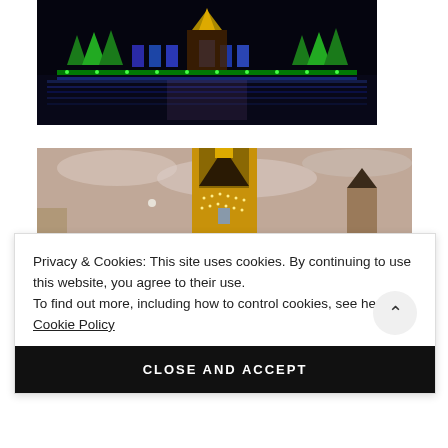[Figure (photo): Night photo of illuminated holiday decorations reflected on water, with green and blue LED lights arranged in rows]
[Figure (photo): Photo of a historic building tower with golden lights against a dusk sky with clouds]
Privacy & Cookies: This site uses cookies. By continuing to use this website, you agree to their use.
To find out more, including how to control cookies, see here: Cookie Policy
CLOSE AND ACCEPT